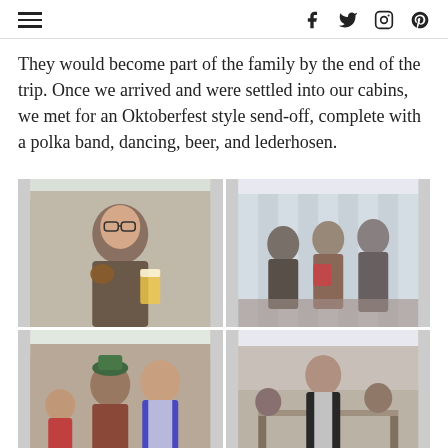[hamburger menu] [social icons: f, twitter, instagram, pinterest]
They would become part of the family by the end of the trip. Once we arrived and were settled into our cabins, we met for an Oktoberfest style send-off, complete with a polka band, dancing, beer, and lederhosen.
[Figure (photo): Four photos in a 2x2 grid showing an Oktoberfest-style event under a tent. Top-left: man holding a pretzel and beer. Top-right: polka band musicians playing instruments under a striped tent. Bottom-left: group of people in Oktoberfest attire including lederhosen and dirndl dresses. Bottom-right: people seated at tables under the tent with a man standing.]